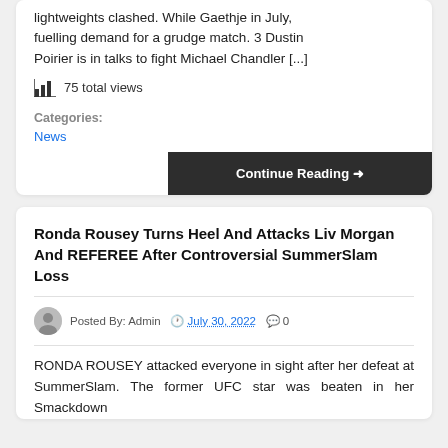lightweights clashed. While Gaethje in July, fuelling demand for a grudge match. 3 Dustin Poirier is in talks to fight Michael Chandler [...]
75 total views
Categories:
News
Continue Reading →
Ronda Rousey Turns Heel And Attacks Liv Morgan And REFEREE After Controversial SummerSlam Loss
Posted By: Admin  July 30, 2022  0
RONDA ROUSEY attacked everyone in sight after her defeat at SummerSlam. The former UFC star was beaten in her Smackdown